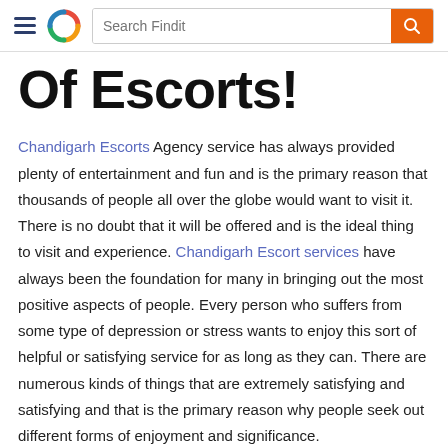[Figure (screenshot): Website navigation bar with hamburger menu, colorful circular logo, search bar labeled 'Search Findit', and orange search button with magnifying glass icon]
Of Escorts!
Chandigarh Escorts Agency service has always provided plenty of entertainment and fun and is the primary reason that thousands of people all over the globe would want to visit it. There is no doubt that it will be offered and is the ideal thing to visit and experience. Chandigarh Escort services have always been the foundation for many in bringing out the most positive aspects of people. Every person who suffers from some type of depression or stress wants to enjoy this sort of helpful or satisfying service for as long as they can. There are numerous kinds of things that are extremely satisfying and satisfying and that is the primary reason why people seek out different forms of enjoyment and significance.
Trust and loyalty are two traits that have become the pri... characteristics of the majority of girls who work under the... In Chandigarh brand. It is the reason many people are w...